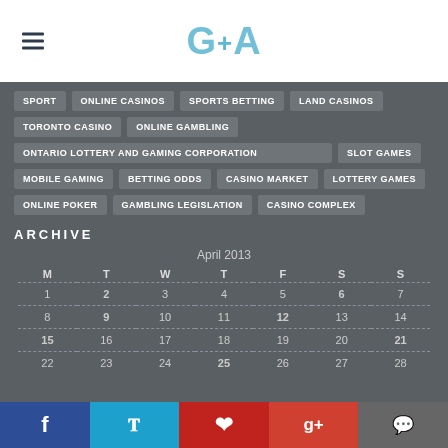G+A logo and hamburger menu
SPORT
ONLINE CASINOS
SPORTS BETTING
LAND CASINOS
TORONTO CASINO
ONLINE GAMBLING
ONTARIO LOTTERY AND GAMING CORPORATION
SLOT GAMES
MOBILE GAMING
BETTING ODDS
CASINO MARKET
LOTTERY GAMES
ONLINE POKER
GAMBLING LEGISLATION
CASINO COMPLEX
ARCHIVE
| M | T | W | T | F | S | S |
| --- | --- | --- | --- | --- | --- | --- |
| 1 | 2 | 3 | 4 | 5 | 6 | 7 |
| 8 | 9 | 10 | 11 | 12 | 13 | 14 |
| 15 | 16 | 17 | 18 | 19 | 20 | 21 |
| 22 | 23 | 24 | 25 | 26 | 27 | 28 |